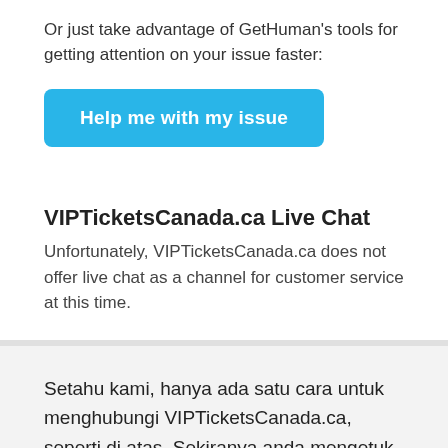Or just take advantage of GetHuman's tools for getting attention on your issue faster:
[Figure (other): Blue button labeled 'Help me with my issue']
VIPTicketsCanada.ca Live Chat
Unfortunately, VIPTicketsCanada.ca does not offer live chat as a channel for customer service at this time.
Setahu kami, hanya ada satu cara untuk menghubungi VIPTicketsCanada.ca, seperti di atas. Sekiranya anda mengetuk atau mengklik pautan untuk itu, anda akan melihat data dan nasihat terbaik kami untuk melakukan apa apabila anda menghubungi VIPTicketsCanada.ca, yang diperoleh